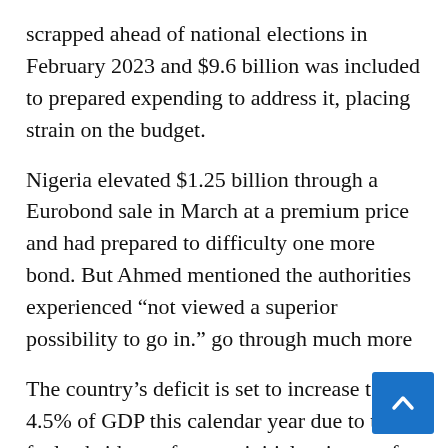scrapped ahead of national elections in February 2023 and $9.6 billion was included to prepared expending to address it, placing strain on the budget.
Nigeria elevated $1.25 billion through a Eurobond sale in March at a premium price and had prepared to difficulty one more bond. But Ahmed mentioned the authorities experienced “not viewed a superior possibility to go in.” go through much more
The country’s deficit is set to increase to 4.5% of GDP this calendar year due to the fuel subsidy, up from an initial estimate of 3.42% in the finances.
Nigeria’s central financial institution stunned marketplaces this 7 days by increasing its principal lending level by 150 basis factors to 13%,